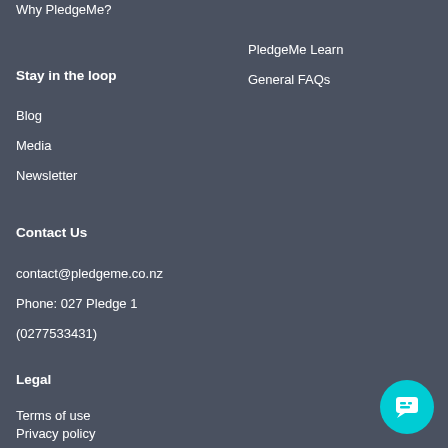Why PledgeMe?
PledgeMe Learn
General FAQs
Stay in the loop
Blog
Media
Newsletter
Contact Us
contact@pledgeme.co.nz
Phone: 027 Pledge 1
(0277533431)
Legal
Terms of use
Privacy policy
Disclosure Statement